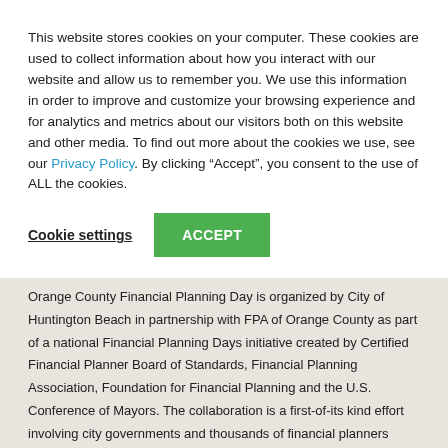This website stores cookies on your computer. These cookies are used to collect information about how you interact with our website and allow us to remember you. We use this information in order to improve and customize your browsing experience and for analytics and metrics about our visitors both on this website and other media. To find out more about the cookies we use, see our Privacy Policy. By clicking “Accept”, you consent to the use of ALL the cookies.
Cookie settings | ACCEPT
Orange County Financial Planning Day is organized by City of Huntington Beach in partnership with FPA of Orange County as part of a national Financial Planning Days initiative created by Certified Financial Planner Board of Standards, Financial Planning Association, Foundation for Financial Planning and the U.S. Conference of Mayors. The collaboration is a first-of-its kind effort involving city governments and thousands of financial planners